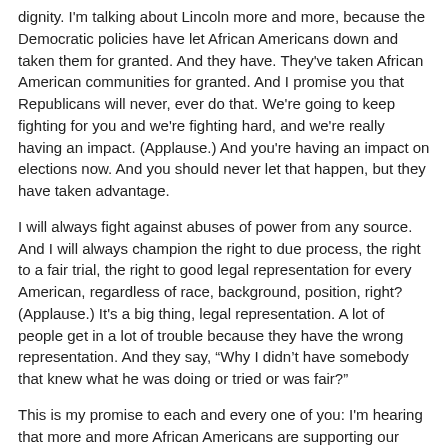dignity.  I'm talking about Lincoln more and more, because the Democratic policies have let African Americans down and taken them for granted.  And they have.  They've taken African American communities for granted.  And I promise you that Republicans will never, ever do that.  We're going to keep fighting for you and we're fighting hard, and we're really having an impact.  (Applause.)  And you're having an impact on elections now.  And you should never let that happen, but they have taken advantage.
I will always fight against abuses of power from any source.  And I will always champion the right to due process, the right to a fair trial, the right to good legal representation for every American, regardless of race, background, position, right?  (Applause.)  It's a big thing, legal representation.  A lot of people get in a lot of trouble because they have the wrong representation.  And they say, “Why I didn’t have somebody that knew what he was doing or tried or was fair?”
This is my promise to each and every one of you: I'm hearing that more and more African Americans are supporting our Republican policy agenda because they see the results that we're delivering.  (Applause.)
You know, during the campaign, I read a long list of things.  It was a speech, regular speech.  Long list.  Highest crime rate: